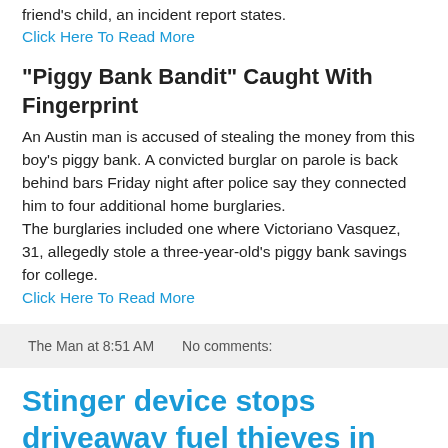friend's child, an incident report states.
Click Here To Read More
"Piggy Bank Bandit" Caught With Fingerprint
An Austin man is accused of stealing the money from this boy's piggy bank. A convicted burglar on parole is back behind bars Friday night after police say they connected him to four additional home burglaries.
The burglaries included one where Victoriano Vasquez, 31, allegedly stole a three-year-old's piggy bank savings for college.
Click Here To Read More
The Man at 8:51 AM    No comments:
Stinger device stops driveaway fuel thieves in their tracks
A service station in Essex has fitted traffic lights and a